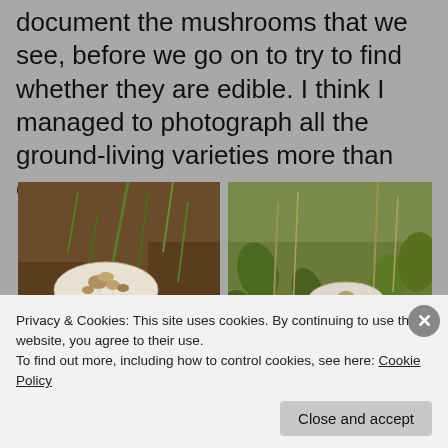document the mushrooms that we see, before we go on to try to find whether they are edible. I think I managed to photograph all the ground-living varieties more than once.
[Figure (photo): Photo of a white mushroom with spotted cap growing on brown soil with sparse grass]
[Figure (photo): Photo of a white mushroom growing among green plants and dry grass]
Privacy & Cookies: This site uses cookies. By continuing to use this website, you agree to their use.
To find out more, including how to control cookies, see here: Cookie Policy
Close and accept